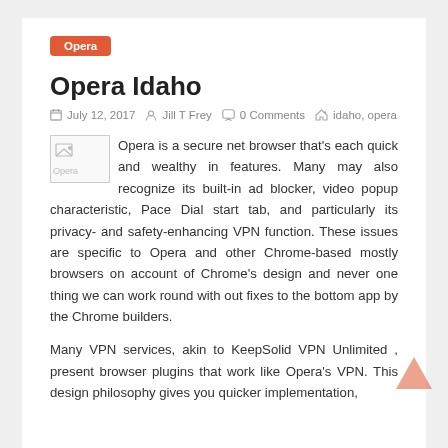Opera
Opera Idaho
July 12, 2017   Jill T Frey   0 Comments   idaho, opera
Opera is a secure net browser that's each quick and wealthy in features. Many may also recognize its built-in ad blocker, video popup characteristic, Pace Dial start tab, and particularly its privacy- and safety-enhancing VPN function. These issues are specific to Opera and other Chrome-based mostly browsers on account of Chrome's design and never one thing we can work round with out fixes to the bottom app by the Chrome builders.
Many VPN services, akin to KeepSolid VPN Unlimited , present browser plugins that work like Opera's VPN. This design philosophy gives you quicker implementation,